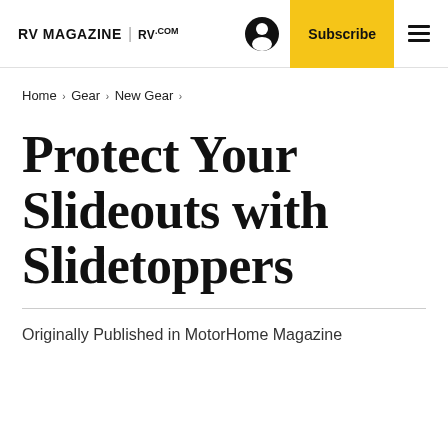RV MAGAZINE | RV.com
Home > Gear > New Gear >
Protect Your Slideouts with Slidetoppers
Originally Published in MotorHome Magazine